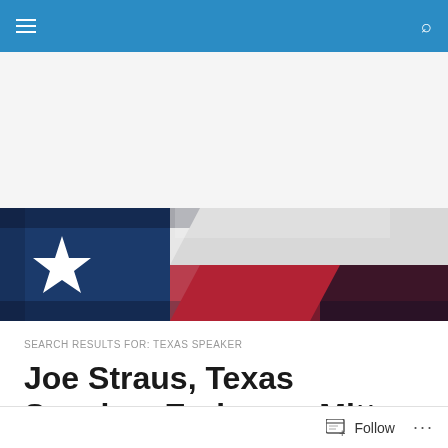Navigation bar with menu and search icons
[Figure (photo): Texas state flag waving, close-up showing the lone star, blue, white, and red stripes with dark vignette edges]
SEARCH RESULTS FOR: TEXAS SPEAKER
Joe Straus, Texas Speaker, Endorses Mitt Romney for President
Follow  ...